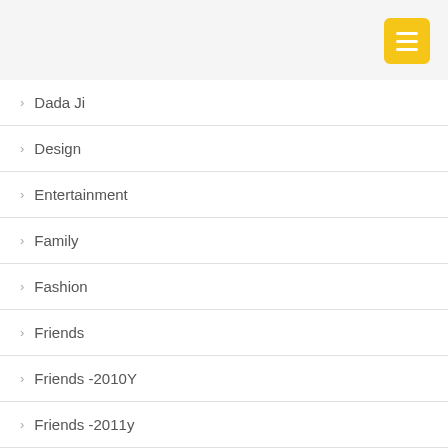[Figure (other): Yellow hamburger menu button in top-right corner]
Dada Ji
Design
Entertainment
Family
Fashion
Friends
Friends -2010Y
Friends -2011y
Friends -2012Y
Friends -2013Y
Friends -2014Y